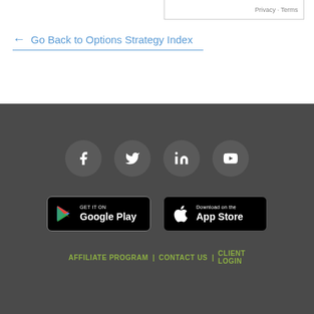Privacy · Terms
← Go Back to Options Strategy Index
[Figure (screenshot): Footer section with social media icons (Facebook, Twitter, LinkedIn, YouTube), Google Play and App Store download buttons, and footer navigation links]
AFFILIATE PROGRAM | CONTACT US | CLIENT LOGIN